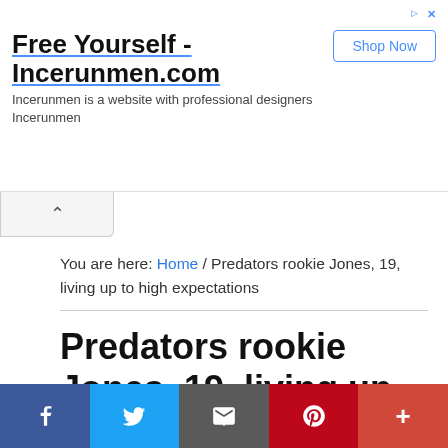[Figure (screenshot): Advertisement banner for Incerunmen.com with title 'Free Yourself - Incerunmen.com', description text, and a 'Shop Now' button]
You are here: Home / Predators rookie Jones, 19, living up to high expectations
Predators rookie Jones, 19, living up to high expectations
NASHVILLE, Tenn. — Ronald “Popeye” Jones played
[Figure (screenshot): Social sharing bar with Facebook, Twitter, Email, Pinterest, and More (+) buttons]